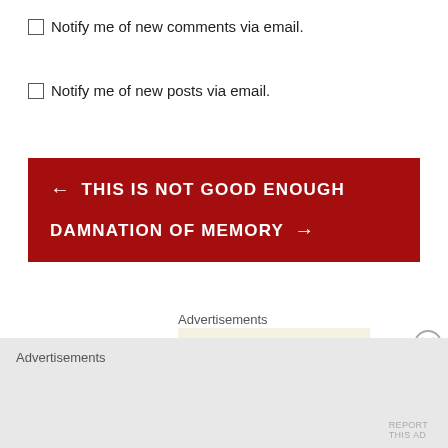Notify me of new comments via email.
Notify me of new posts via email.
← THIS IS NOT GOOD ENOUGH
DAMNATION OF MEMORY →
Advertisements
[Figure (logo): WordPress logo: circle with W mark]
Advertisements
REPORT THIS AD